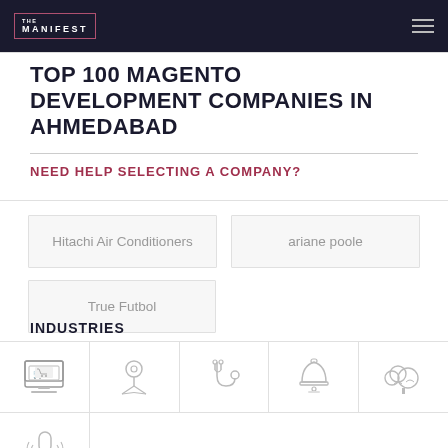THE MANIFEST
TOP 100 MAGENTO DEVELOPMENT COMPANIES IN AHMEDABAD
NEED HELP SELECTING A COMPANY?
Hitachi Air Conditioners
ariane poole
True Futbol
INDUSTRIES
[Figure (illustration): Five industry icons in a row: e-commerce screen, location/map, medical stethoscope, hotel bell, and a cloud/tree icon]
[Figure (illustration): Podcast/microphone icon in the second icons row]